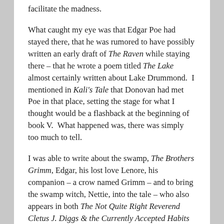facilitate the madness.
What caught my eye was that Edgar Poe had stayed there, that he was rumored to have possibly written an early draft of The Raven while staying there – that he wrote a poem titled The Lake almost certainly written about Lake Drummond.  I mentioned in Kali's Tale that Donovan had met Poe in that place, setting the stage for what I thought would be a flashback at the beginning of book V.  What happened was, there was simply too much to tell.
I was able to write about the swamp, The Brothers Grimm, Edgar, his lost love Lenore, his companion – a crow named Grimm – and to bring the swamp witch, Nettie, into the tale – who also appears in both The Not Quite Right Reverend Cletus J. Diggs & the Currently Accepted Habits of Nature and Kali's Tale, erasing yet another wall between worlds.
I've come to believe that my stories are actually all part of